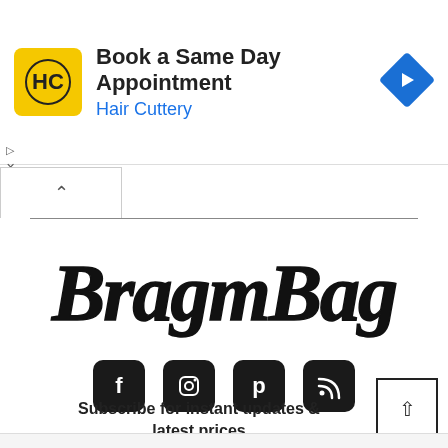[Figure (screenshot): Advertisement banner for Hair Cuttery with logo, title 'Book a Same Day Appointment', subtitle 'Hair Cuttery', and a blue navigation arrow icon on right]
[Figure (logo): BragmBag stylized graffiti-style logo in black script lettering]
[Figure (infographic): Four social media icon buttons: Facebook, Instagram, Pinterest, RSS feed - black rounded square icons]
Subscribe for instant updates & latest prices